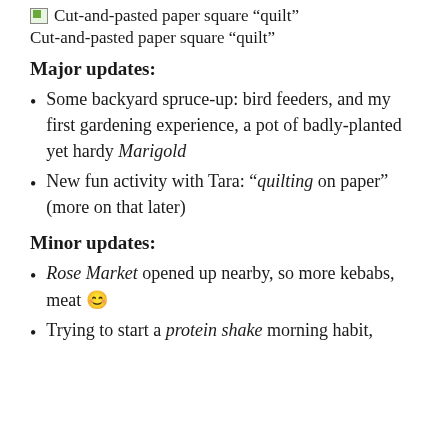Cut-and-pasted paper square “quilt”
Cut-and-pasted paper square “quilt”
Major updates:
Some backyard spruce-up: bird feeders, and my first gardening experience, a pot of badly-planted yet hardy Marigold
New fun activity with Tara: “quilting on paper” (more on that later)
Minor updates:
Rose Market opened up nearby, so more kebabs, meat 😊
Trying to start a protein shake morning habit,